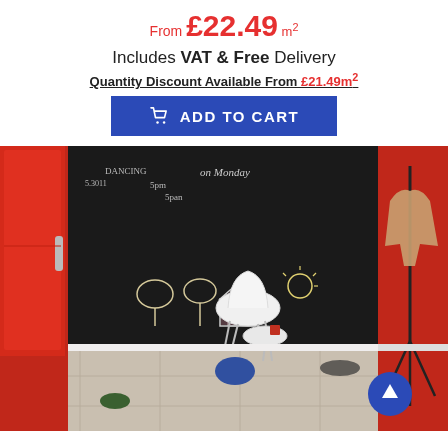From £22.49 m²
Includes VAT & Free Delivery
Quantity Discount Available From £21.49m²
ADD TO CART
[Figure (photo): Room interior with a large chalkboard wall covered in chalk drawings (house, trees, sun, writing). A white chair and small table are in front of the chalkboard. A red refrigerator is on the left, a coat stand with jacket on the right, red walls, grey tile floor. Blue scroll-up button in bottom right.]